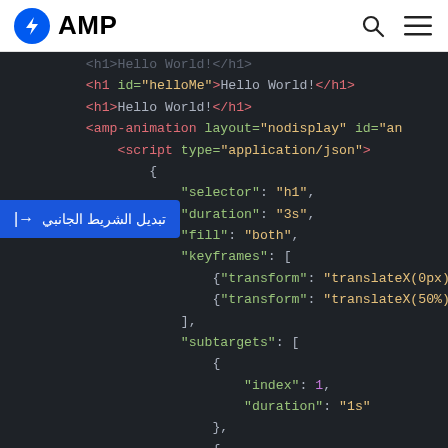AMP
[Figure (screenshot): AMP documentation page showing a dark-themed code editor with HTML and JSON animation code. A blue toggle sidebar button with Arabic text is overlaid on the left.]